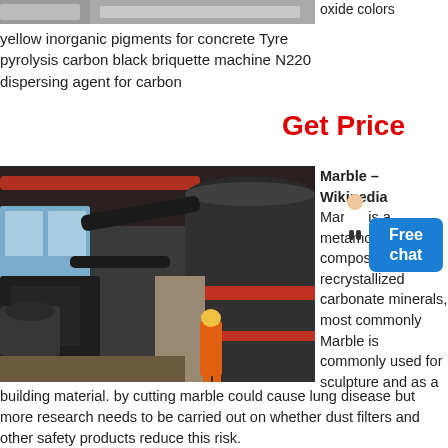[Figure (photo): Top portion of an industrial image (cropped at top)]
oxide colors yellow inorganic pigments for concrete Tyre pyrolysis carbon black briquette machine N220 dispersing agent for carbon
Get Price
[Figure (photo): Industrial facility interior showing large machinery, a worker in orange safety gear and yellow hard hat, large cylindrical tanks with red bands, pipes, and industrial equipment in a factory setting.]
Marble - Wikipedia  Marble is a metamorphic rock composed of recrystallized carbonate minerals, most commonly Marble is commonly used for sculpture and as a building material. by cutting marble could cause lung disease but more research needs to be carried out on whether dust filters and other safety products reduce this risk.